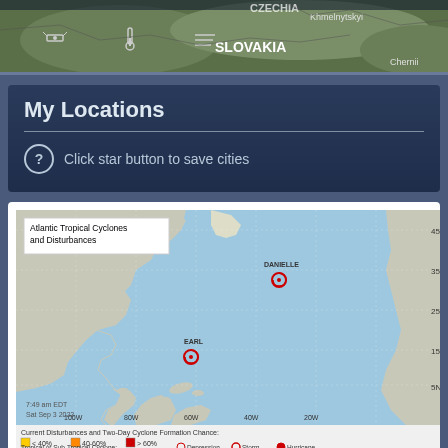[Figure (map): Top strip showing a satellite/terrain map of Central Europe with SLOVAKIA label and city names including Khmelnytskyi and Chernii visible, with weather icons overlaid]
My Locations
Click star button to save cities
[Figure (map): Atlantic Tropical Cyclones and Disturbances map showing the Atlantic Ocean basin with two tropical cyclone markers: DANIELLE at approximately 35N 45W and EARL at approximately 18N 62W. Timestamp reads 7:49 am EDT Sat Sep 3 2022. Legend shows Current Disturbances and Two-Day Cyclone Formation Chance with color-coded probability indicators and Tropical or Sub-Tropical Cyclone symbols for Depression, Storm, and Hurricane.]